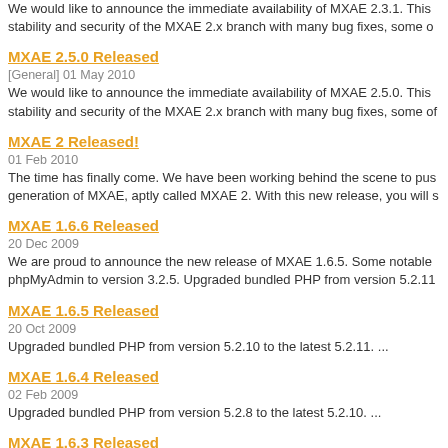We would like to announce the immediate availability of MXAE 2.3.1. This stability and security of the MXAE 2.x branch with many bug fixes, some o
MXAE 2.5.0 Released
[General] 01 May 2010
We would like to announce the immediate availability of MXAE 2.5.0. This stability and security of the MXAE 2.x branch with many bug fixes, some of
MXAE 2 Released!
01 Feb 2010
The time has finally come. We have been working behind the scene to pus generation of MXAE, aptly called MXAE 2. With this new release, you will s
MXAE 1.6.6 Released
20 Dec 2009
We are proud to announce the new release of MXAE 1.6.5. Some notable phpMyAdmin to version 3.2.5. Upgraded bundled PHP from version 5.2.11
MXAE 1.6.5 Released
20 Oct 2009
Upgraded bundled PHP from version 5.2.10 to the latest 5.2.11. ...
MXAE 1.6.4 Released
02 Feb 2009
Upgraded bundled PHP from version 5.2.8 to the latest 5.2.10. ...
MXAE 1.6.3 Released
01 Dec 2008
Further details about the MXAE 1.6.3 release can be found in...
MXAE 1.6.2 Released